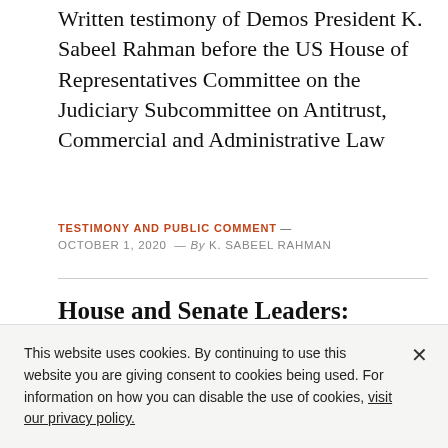Written testimony of Demos President K. Sabeel Rahman before the US House of Representatives Committee on the Judiciary Subcommittee on Antitrust, Commercial and Administrative Law
TESTIMONY AND PUBLIC COMMENT — OCTOBER 1, 2020 — By K. SABEEL RAHMAN
House and Senate Leaders: Include Student Debt Cancellation in COVID-19
This website uses cookies. By continuing to use this website you are giving consent to cookies being used. For information on how you can disable the use of cookies, visit our privacy policy.